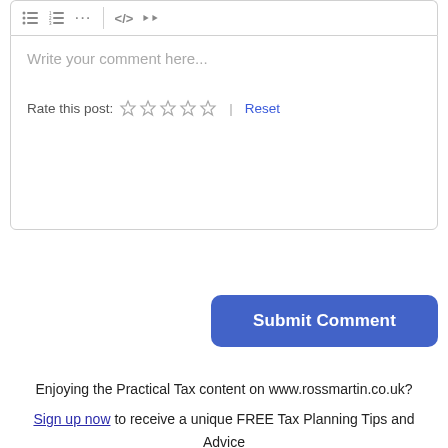[Figure (screenshot): Comment editor toolbar with list, numbered list, ellipsis, code, and chevron icons]
Write your comment here...
Rate this post: ☆ ☆ ☆ ☆ ☆ | Reset
Submit Comment
Enjoying the Practical Tax content on www.rossmartin.co.uk?
Sign up now to receive a unique FREE Tax Planning Tips and Advice